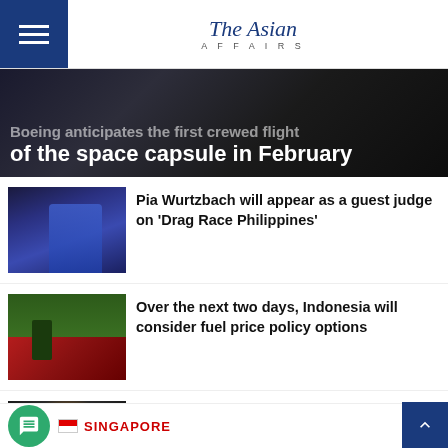The Asian Affairs
[Figure (photo): Hero image with dark background showing partial headline text about Boeing space capsule]
Boeing anticipates the first crewed flight of the space capsule in February
[Figure (photo): Woman in blue dress, Pia Wurtzbach]
Pia Wurtzbach will appear as a guest judge on 'Drag Race Philippines'
[Figure (photo): Cyclist near red and white barricades, fuel related scene in Indonesia]
Over the next two days, Indonesia will consider fuel price policy options
[Figure (photo): Bowl of instant noodles with chopsticks]
Thailand approves the first price increase for instant noodles in 14 years
SINGAPORE